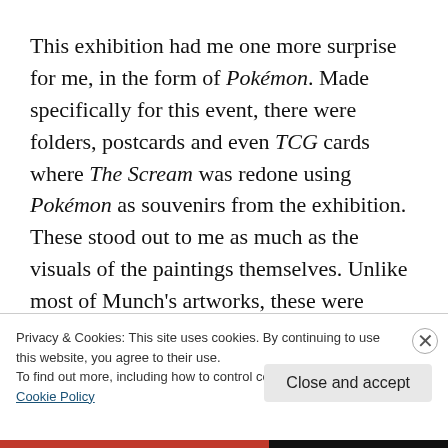This exhibition had me one more surprise for me, in the form of Pokémon. Made specifically for this event, there were folders, postcards and even TCG cards where The Scream was redone using Pokémon as souvenirs from the exhibition. These stood out to me as much as the visuals of the paintings themselves. Unlike most of Munch's artworks, these were familiar to me. The way they were made though, not
Privacy & Cookies: This site uses cookies. By continuing to use this website, you agree to their use.
To find out more, including how to control cookies, see here: Cookie Policy
Close and accept